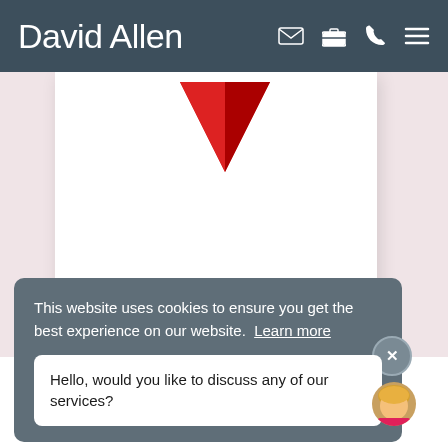David Allen
[Figure (photo): White card/envelope with red heart triangle visible at top, on a blush pink background]
This website uses cookies to ensure you get the best experience on our website. Learn more
Hello, would you like to discuss any of our services?